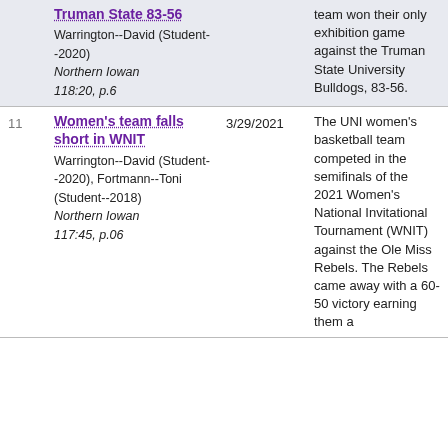| # | Title / Source | Date | Description |
| --- | --- | --- | --- |
|  | Truman State 83-56
Warrington--David (Student--2020)
Northern Iowan 118:20, p.6 |  | team won their only exhibition game against the Truman State University Bulldogs, 83-56. |
| 11 | Women's team falls short in WNIT
Warrington--David (Student--2020), Fortmann--Toni (Student--2018)
Northern Iowan 117:45, p.06 | 3/29/2021 | The UNI women's basketball team competed in the semifinals of the 2021 Women's National Invitational Tournament (WNIT) against the Ole Miss Rebels. The Rebels came away with a 60-50 victory earning them a |